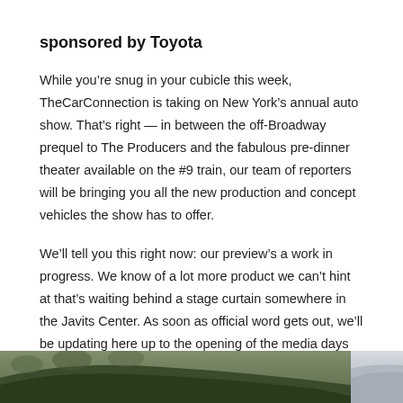sponsored by Toyota
While you’re snug in your cubicle this week, TheCarConnection is taking on New York’s annual auto show. That’s right — in between the off-Broadway prequel to The Producers and the fabulous pre-dinner theater available on the #9 train, our team of reporters will be bringing you all the new production and concept vehicles the show has to offer.
We’ll tell you this right now: our preview’s a work in progress. We know of a lot more product we can’t hint at that’s waiting behind a stage curtain somewhere in the Javits Center. As soon as official word gets out, we’ll be updating here up to the opening of the media days on March 27.
[Figure (photo): Two partial car images at the bottom of the page: a dark-colored vehicle on the left and a light-colored vehicle on the right, cropped at the top edge.]